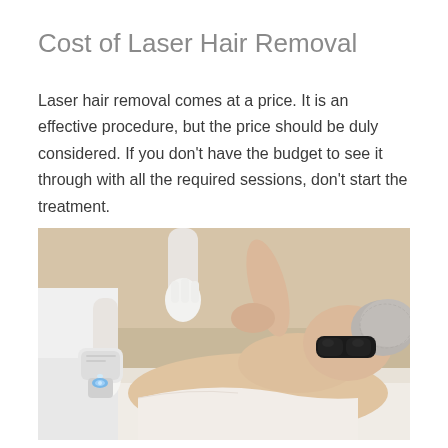Cost of Laser Hair Removal
Laser hair removal comes at a price. It is an effective procedure, but the price should be duly considered. If you don't have the budget to see it through with all the required sessions, don't start the treatment.
[Figure (photo): A woman lying on a treatment table wearing dark protective goggles and a hair net, while a medical professional in white uniform and gloves applies a laser hair removal device to her underarm area.]